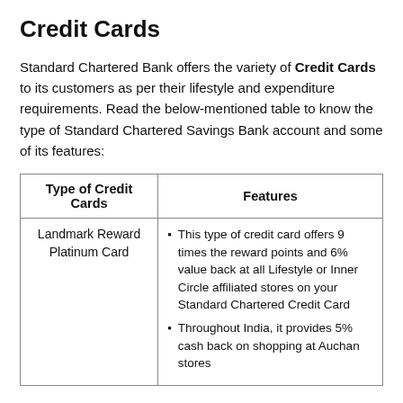Credit Cards
Standard Chartered Bank offers the variety of Credit Cards to its customers as per their lifestyle and expenditure requirements. Read the below-mentioned table to know the type of Standard Chartered Savings Bank account and some of its features:
| Type of Credit Cards | Features |
| --- | --- |
| Landmark Reward Platinum Card | • This type of credit card offers 9 times the reward points and 6% value back at all Lifestyle or Inner Circle affiliated stores on your Standard Chartered Credit Card
• Throughout India, it provides 5% cash back on shopping at Auchan stores |